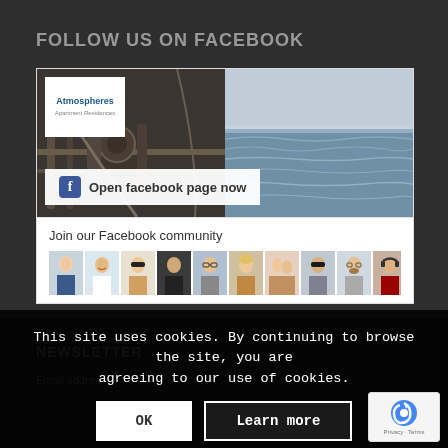FOLLOW US ON FACEBOOK
[Figure (screenshot): Facebook page widget showing Atmospheres logo, a ship/ocean photo banner, 'Open facebook page now' button with Facebook icon, 'Join our Facebook community' section with profile photo thumbnails]
This site uses cookies. By continuing to browse the site, you are agreeing to our use of cookies.
NEWSLETTER
Email address: